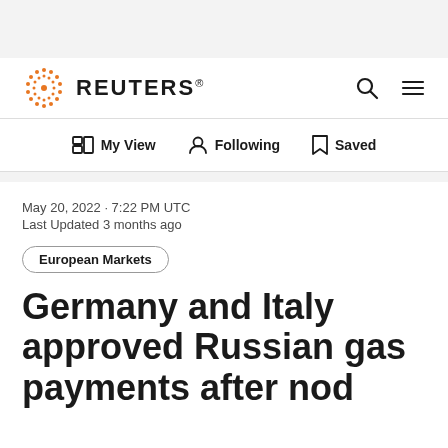REUTERS
My View  Following  Saved
May 20, 2022 · 7:22 PM UTC
Last Updated 3 months ago
European Markets
Germany and Italy approved Russian gas payments after nod